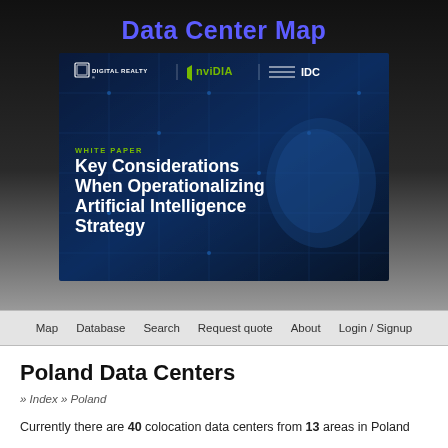Data Center Map
[Figure (illustration): Advertisement banner for a white paper titled 'Key Considerations When Operationalizing Artificial Intelligence Strategy' by Digital Realty, NVIDIA, and IDC. Dark blue tech/circuit board background with neural network imagery.]
Map   Database   Search   Request quote   About   Login / Signup
Poland Data Centers
» Index » Poland
Currently there are 40 colocation data centers from 13 areas in Poland